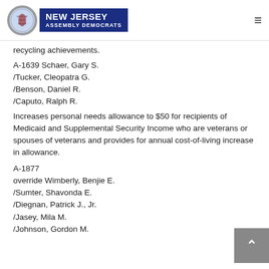New Jersey Assembly Democrats
recycling achievements.
A-1639 Schaer, Gary S.
/Tucker, Cleopatra G.
/Benson, Daniel R.
/Caputo, Ralph R.
Increases personal needs allowance to $50 for recipients of Medicaid and Supplemental Security Income who are veterans or spouses of veterans and provides for annual cost-of-living increase in allowance.
A-1877
override Wimberly, Benjie E.
/Sumter, Shavonda E.
/Diegnan, Patrick J., Jr.
/Jasey, Mila M.
/Johnson, Gordon M.